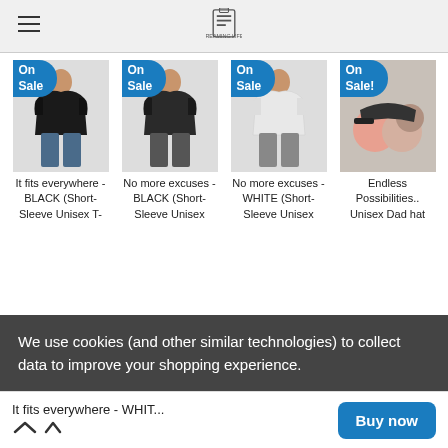Navigation bar with hamburger menu and store logo
[Figure (screenshot): Product 1: Black short-sleeve t-shirt with 'On Sale' badge]
It fits everywhere - BLACK (Short-Sleeve Unisex T-
[Figure (screenshot): Product 2: Black short-sleeve t-shirt with 'On Sale' badge]
No more excuses - BLACK (Short-Sleeve Unisex
[Figure (screenshot): Product 3: White short-sleeve t-shirt with 'On Sale' badge]
No more excuses - WHITE (Short-Sleeve Unisex
[Figure (screenshot): Product 4: Unisex Dad hat with 'On Sale' badge]
Endless Possibilities.. Unisex Dad hat
We use cookies (and other similar technologies) to collect data to improve your shopping experience.
It fits everywhere - WHIT...  Buy now